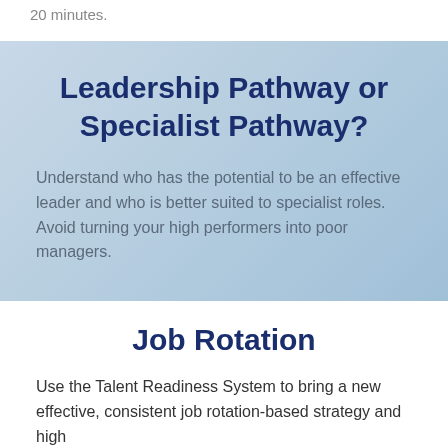20 minutes.
Leadership Pathway or Specialist Pathway?
Understand who has the potential to be an effective leader and who is better suited to specialist roles. Avoid turning your high performers into poor managers.
Job Rotation
Use the Talent Readiness System to bring a new effective, consistent job rotation-based strategy and high